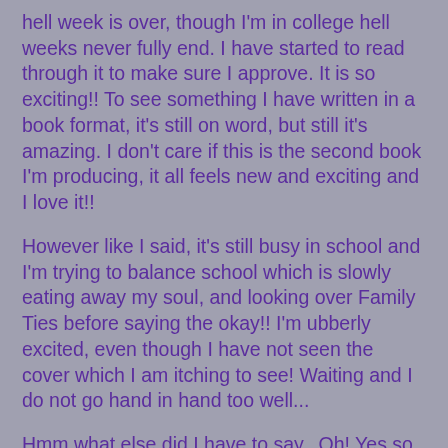hell week is over, though I'm in college hell weeks never fully end. I have started to read through it to make sure I approve. It is so exciting!! To see something I have written in a book format, it's still on word, but still it's amazing. I don't care if this is the second book I'm producing, it all feels new and exciting and I love it!!
However like I said, it's still busy in school and I'm trying to balance school which is slowly eating away my soul, and looking over Family Ties before saying the okay!! I'm ubberly excited, even though I have not seen the cover which I am itching to see! Waiting and I do not go hand in hand too well...
Hmm what else did I have to say...Oh! Yes so End of the Line is competely and utterly awaiting those with e-readers to enjoy! I am still not very happy with Xlibris, calling when they want money for something else when I keep telling them I don't have a job, but they dont' return my calls when I have a problem. Along with other cat and mice games so I am thinking of canceling my service with Xlibris, while looking for another self publisher or something for it to be in print I'm going to keep the e-reader form up till then!! I have spring break in like 2 weeks and I'm hoping to do all of that during that time! That way hopefully the print form will be cheaper